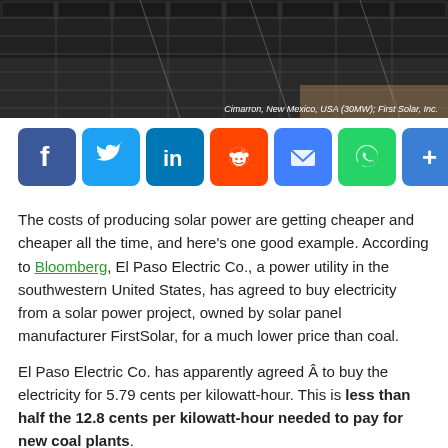[Figure (photo): Aerial view of solar panels at Cimarron, New Mexico, USA (30MW); First Solar, Inc.]
[Figure (infographic): Social sharing buttons: Facebook, Twitter, LinkedIn, Reddit, Email, WhatsApp, Share]
The costs of producing solar power are getting cheaper and cheaper all the time, and here's one good example. According to Bloomberg, El Paso Electric Co., a power utility in the southwestern United States, has agreed to buy electricity from a solar power project, owned by solar panel manufacturer FirstSolar, for a much lower price than coal.
El Paso Electric Co. has apparently agreed Â to buy the electricity for 5.79 cents per kilowatt-hour. This is less than half the 12.8 cents per kilowatt-hour needed to pay for new coal plants.
So far, FirstSolar has developed over 50 megawatts of solar projects in New Mexico since 2011, and is planning for a further 21.5 megawatts by the end of 2013. The company has also been installing solar capacity elsewhere. Its project in Yuma County in Arizona was the biggest solar project running in the world back in October of last year.